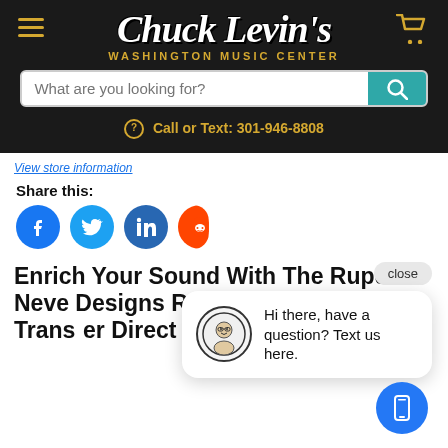[Figure (screenshot): Chuck Levin's Washington Music Center website header with logo, search bar, and phone number]
View store information
Share this:
[Figure (screenshot): Social media share icons: Facebook, Twitter, LinkedIn, Reddit]
[Figure (screenshot): Chat popup with avatar and message: Hi there, have a question? Text us here. With close button.]
Enrich Your Sound With The Rupert Neve Designs RNDI-S Stereo Active Transformer Direct Interface